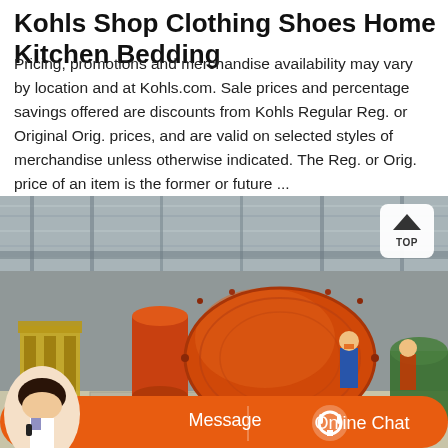Kohls Shop Clothing Shoes Home Kitchen Bedding
Pricing, promotions and merchandise availability may vary by location and at Kohls.com. Sale prices and percentage savings offered are discounts from Kohls Regular Reg. or Original Orig. prices, and are valid on selected styles of merchandise unless otherwise indicated. The Reg. or Orig. price of an item is the former or future ...
[Figure (photo): Industrial warehouse interior showing a large orange ball mill grinding machine. Workers visible in background. Chat bar overlay at bottom with Message and Online Chat buttons, and a customer service avatar.]